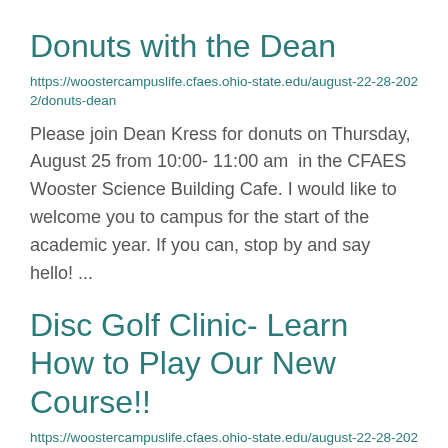Donuts with the Dean
https://woostercampuslife.cfaes.ohio-state.edu/august-22-28-2022/donuts-dean
Please join Dean Kress for donuts on Thursday, August 25 from 10:00- 11:00 am  in the CFAES Wooster Science Building Cafe. I would like to welcome you to campus for the start of the academic year. If you can, stop by and say hello! ...
Disc Golf Clinic- Learn How to Play Our New Course!!
https://woostercampuslife.cfaes.ohio-state.edu/august-22-28-2022/disc-golf-clinic-learn-how-play-our-new-course